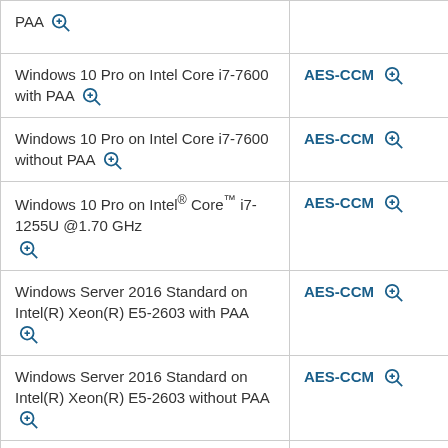| Platform | Algorithm |
| --- | --- |
| PAA [zoom] |  |
| Windows 10 Pro on Intel Core i7-7600 with PAA [zoom] | AES-CCM [zoom] |
| Windows 10 Pro on Intel Core i7-7600 without PAA [zoom] | AES-CCM [zoom] |
| Windows 10 Pro on Intel® Core™ i7-1255U @1.70 GHz [zoom] | AES-CCM [zoom] |
| Windows Server 2016 Standard on Intel(R) Xeon(R) E5-2603 with PAA [zoom] | AES-CCM [zoom] |
| Windows Server 2016 Standard on Intel(R) Xeon(R) E5-2603 without PAA [zoom] | AES-CCM [zoom] |
| Windows Server 2019 | AES-CCM [zoom] |